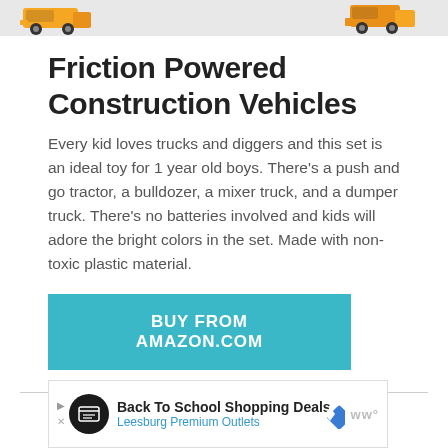[Figure (photo): Top banner showing partial images of orange and yellow toy construction trucks on a light gray background]
Friction Powered Construction Vehicles
Every kid loves trucks and diggers and this set is an ideal toy for 1 year old boys. There's a push and go tractor, a bulldozer, a mixer truck, and a dumper truck. There's no batteries involved and kids will adore the bright colors in the set. Made with non-toxic plastic material.
[Figure (other): Teal/blue button with white bold uppercase text reading BUY FROM AMAZON.COM]
[Figure (other): Advertisement banner: Back To School Shopping Deals - Leesburg Premium Outlets, with icons]